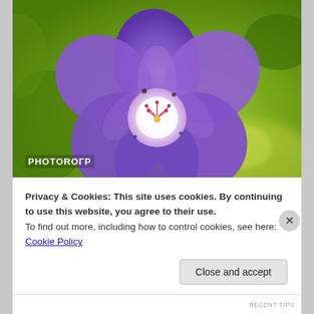[Figure (photo): Close-up macro photograph of a purple/violet flower (geranium) with white center and stamens, against a blurred green foliage background. Watermark 'PHOTORОГР' in bottom-left corner.]
Remember the discussion of Aperture Priority above? This flower was shot with a wide open aperture and close up filters. The foliage in the
Privacy & Cookies: This site uses cookies. By continuing to use this website, you agree to their use.
To find out more, including how to control cookies, see here: Cookie Policy
Close and accept